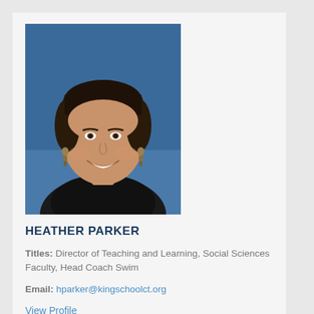[Figure (photo): Headshot photo of Heather Parker, a woman with dark hair pulled back, smiling, wearing dark clothing, against a blue background]
HEATHER PARKER
Titles: Director of Teaching and Learning, Social Sciences Faculty, Head Coach Swim
Email: hparker@kingschoolct.org
View Profile